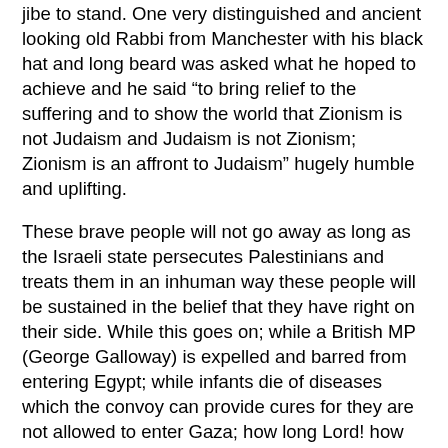jibe to stand. One very distinguished and ancient looking old Rabbi from Manchester with his black hat and long beard was asked what he hoped to achieve and he said “to bring relief to the suffering and to show the world that Zionism is not Judaism and Judaism is not Zionism; Zionism is an affront to Judaism” hugely humble and uplifting.
These brave people will not go away as long as the Israeli state persecutes Palestinians and treats them in an inhuman way these people will be sustained in the belief that they have right on their side. While this goes on; while a British MP (George Galloway) is expelled and barred from entering Egypt; while infants die of diseases which the convoy can provide cures for they are not allowed to enter Gaza; how long Lord! how long! The biggest disgrace of all is that we can’t see any of this on our national TV channels; why? why do we have to rely on minority channels like Press TV and Al Jazeera to see what is happening; turning a blind eye to the suffering of these innocent people for fear of America opprobrium is becoming Britain’s shame. The BBC refused to advertise an appeal for help for the people of Gaza which was a disgrace and now they refuse to show us what is